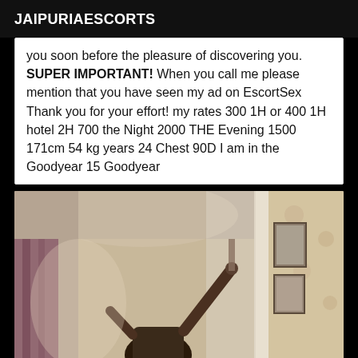JAIPURIAESCORTS
you soon before the pleasure of discovering you. SUPER IMPORTANT! When you call me please mention that you have seen my ad on EscortSex Thank you for your effort! my rates 300 1H or 400 1H hotel 2H 700 the Night 2000 THE Evening 1500 171cm 54 kg years 24 Chest 90D I am in the Goodyear 15 Goodyear
[Figure (photo): A person with dark hair standing in a room with curtains, walls with framed pictures, and a door frame visible.]